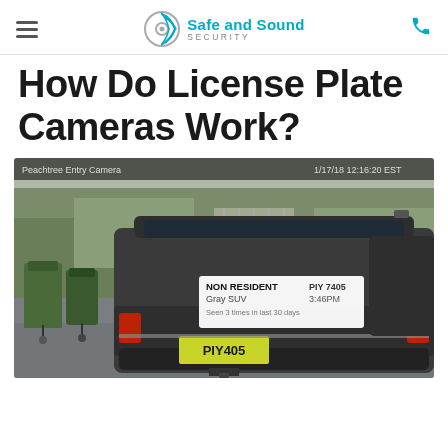Safe and Sound Security
How Do License Plate Cameras Work?
[Figure (photo): Security camera screenshot showing the rear of a gray SUV in a driveway. An overlay popup reads 'NON RESIDENT / Gray SUV / Seen 3 times in last 30 days' with plate 'PIY 7405' and time '3:46PM'. The license plate is visible as PIY405 on a yellow-green background. Camera label 'Peachtree Entry Camera' and timestamp '1/17/18 12:16:20 EST' are shown. Green trash bins visible on the left.]